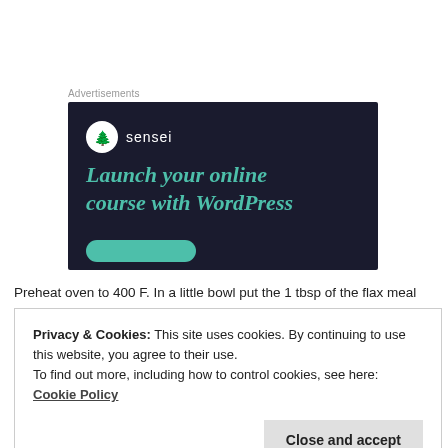Advertisements
[Figure (illustration): Sensei advertisement banner with dark navy background. Shows Sensei logo (tree icon in white circle) and text 'Launch your online course with WordPress' in teal italic font, with a teal rounded button at bottom.]
Preheat oven to 400 F. In a little bowl put the 1 tbsp of the flax meal
Privacy & Cookies: This site uses cookies. By continuing to use this website, you agree to their use.
To find out more, including how to control cookies, see here: Cookie Policy
your muffin tray with paper liners and fill them up with the yummy